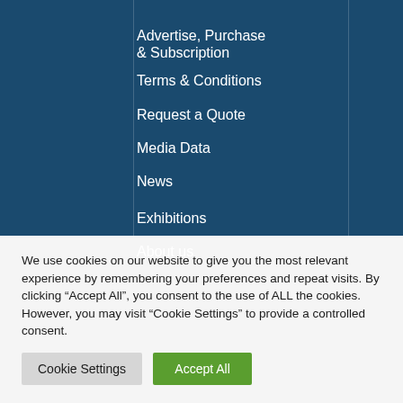Advertise, Purchase & Subscription
Terms & Conditions
Request a Quote
Media Data
News
Exhibitions
About us
We use cookies on our website to give you the most relevant experience by remembering your preferences and repeat visits. By clicking “Accept All”, you consent to the use of ALL the cookies. However, you may visit “Cookie Settings” to provide a controlled consent.
Cookie Settings | Accept All